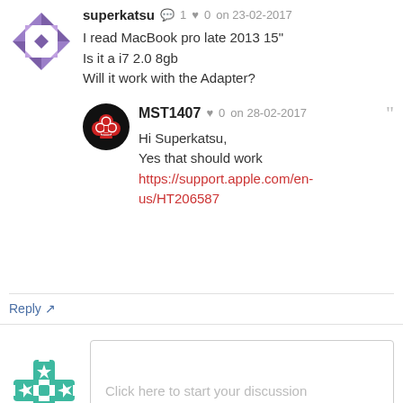superkatsu  💬 1  ❤ 0  on 23-02-2017
I read MacBook pro late 2013 15"
Is it a i7 2.0 8gb
Will it work with the Adapter?
MST1407  ❤ 0  on 28-02-2017
Hi Superkatsu,
Yes that should work
https://support.apple.com/en-us/HT206587
Reply ↗
Click here to start your discussion